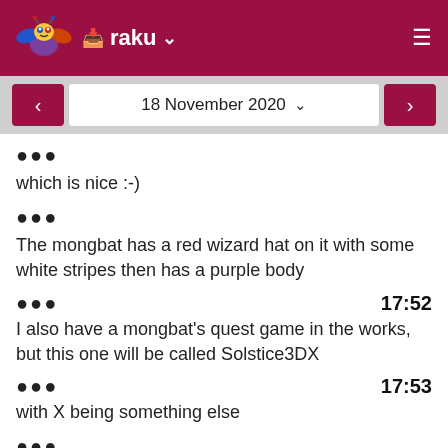raku
18 November 2020
●●●
which is nice :-)
●●●
The mongbat has a red wizard hat on it with some white stripes then has a purple body
●●● 17:52
I also have a mongbat's quest game in the works, but this one will be called Solstice3DX
●●● 17:53
with X being something else
●●●
ok, I am a bit afk now, will try to alleviate the models and